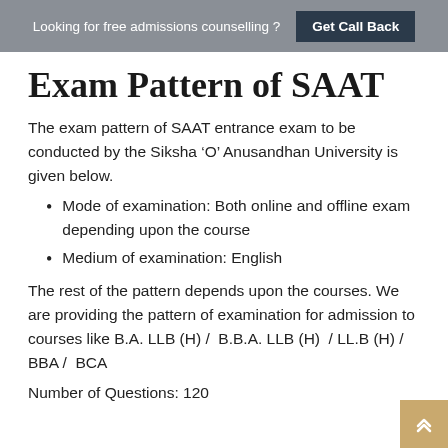Looking for free admissions counselling ? Get Call Back
Exam Pattern of SAAT
The exam pattern of SAAT entrance exam to be conducted by the Siksha ‘O’ Anusandhan University is given below.
Mode of examination: Both online and offline exam depending upon the course
Medium of examination: English
The rest of the pattern depends upon the courses. We are providing the pattern of examination for admission to courses like B.A. LLB (H) /  B.B.A. LLB (H)  / LL.B (H) / BBA /  BCA
Number of Questions: 120